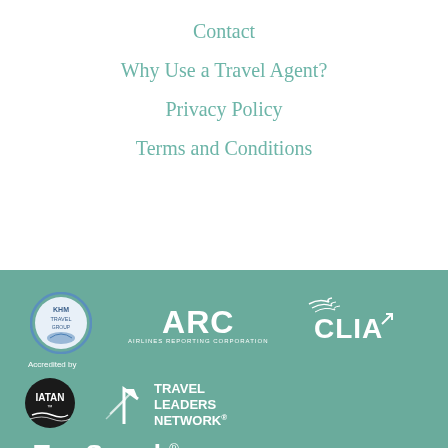Contact
Why Use a Travel Agent?
Privacy Policy
Terms and Conditions
[Figure (logo): KHM Travel Group circular badge logo, blue and white]
[Figure (logo): ARC Airlines Reporting Corporation logo, white text]
[Figure (logo): CLIA logo with swoosh, white text]
[Figure (logo): IATAN Accredited by badge, black circular logo with white text]
[Figure (logo): Travel Leaders Network logo with arrow icon, white text]
[Figure (logo): TravSearch registered trademark logo, white bold text]
© 2022 KHM Consulting Inc. All Rights Reserved. KHM